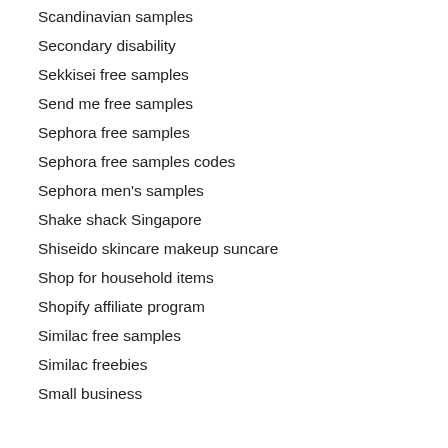Scandinavian samples
Secondary disability
Sekkisei free samples
Send me free samples
Sephora free samples
Sephora free samples codes
Sephora men's samples
Shake shack Singapore
Shiseido skincare makeup suncare
Shop for household items
Shopify affiliate program
Similac free samples
Similac freebies
Small business